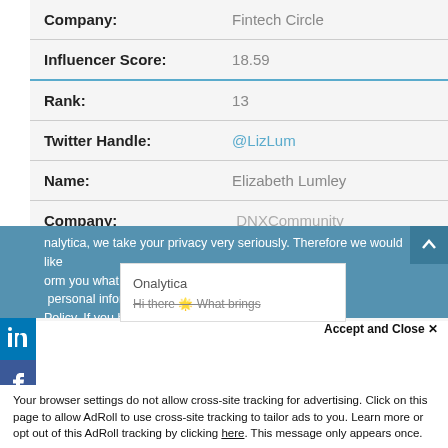| Company: | Fintech Circle |
| Influencer Score: | 18.59 |
| Rank: | 13 |
| Twitter Handle: | @LizLum |
| Name: | Elizabeth Lumley |
| Company: | DNXCommunity |
| Influencer Score: | 18.41 |
| Rank: | 14 |
[Figure (screenshot): Social media share icons (Twitter, LinkedIn, Facebook) on left side bar]
[Figure (screenshot): Privacy/cookie consent overlay banner with Onalytica chat popup and AdRoll tracking notice]
nalytica, we take your privacy very seriously. Therefore we would like orm you what data we collect, th personal information. To learn ie Policy. If you have any questio Hi there What brings
Onalytica
Accept and Close ✕
Your browser settings do not allow cross-site tracking for advertising. Click on this page to allow AdRoll to use cross-site tracking to tailor ads to you. Learn more or opt out of this AdRoll tracking by clicking here. This message only appears once.